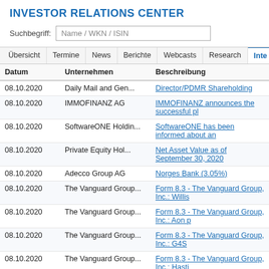INVESTOR RELATIONS CENTER
Suchbegriff: Name / WKN / ISIN
Übersicht  Termine  News  Berichte  Webcasts  Research  Inte...
| Datum | Unternehmen | Beschreibung |
| --- | --- | --- |
| 08.10.2020 | Daily Mail and Gen... | Director/PDMR Shareholding |
| 08.10.2020 | IMMOFINANZ AG | IMMOFINANZ announces the successful pl... |
| 08.10.2020 | SoftwareONE Holdin... | SoftwareONE has been informed about an... |
| 08.10.2020 | Private Equity Hol... | Net Asset Value as of September 30, 2020 |
| 08.10.2020 | Adecco Group AG | Norges Bank (3.05%) |
| 08.10.2020 | The Vanguard Group... | Form 8.3 - The Vanguard Group, Inc.: Willis... |
| 08.10.2020 | The Vanguard Group... | Form 8.3 - The Vanguard Group, Inc.: Aon p... |
| 08.10.2020 | The Vanguard Group... | Form 8.3 - The Vanguard Group, Inc.: G4S... |
| 08.10.2020 | The Vanguard Group... | Form 8.3 - The Vanguard Group, Inc.: Hasti... |
| 08.10.2020 | Rights and Issues ... | Rights and Issues Investment Trust PLC: N... |
Seite 1